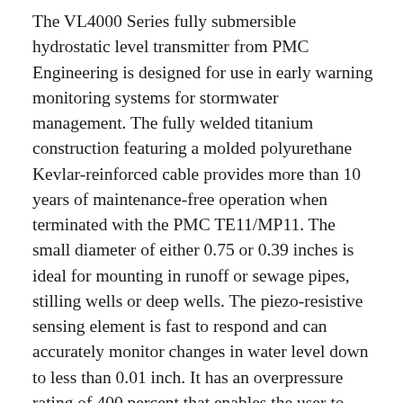The VL4000 Series fully submersible hydrostatic level transmitter from PMC Engineering is designed for use in early warning monitoring systems for stormwater management. The fully welded titanium construction featuring a molded polyurethane Kevlar-reinforced cable provides more than 10 years of maintenance-free operation when terminated with the PMC TE11/MP11. The small diameter of either 0.75 or 0.39 inches is ideal for mounting in runoff or sewage pipes, stilling wells or deep wells. The piezo-resistive sensing element is fast to respond and can accurately monitor changes in water level down to less than 0.01 inch. It has an overpressure rating of 400 percent that enables the user to install transmitters of an appropriate range for normal monitoring, but still be confident of survival during extreme flood conditions where up to four times the depth might be